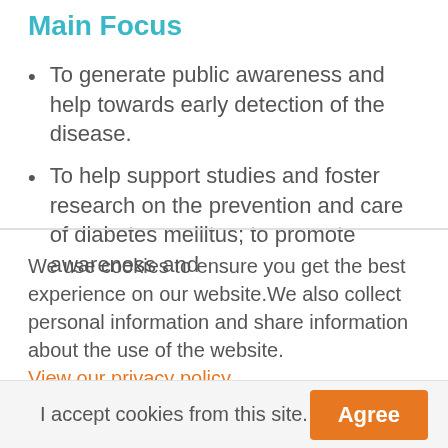Main Focus
To generate public awareness and help towards early detection of the disease.
To help support studies and foster research on the prevention and care of diabetes mellitus; to promote awareness and
We use cookies to ensure you get the best experience on our website.We also collect personal information and share information about the use of the website. View our privacy policy
I accept cookies from this site.